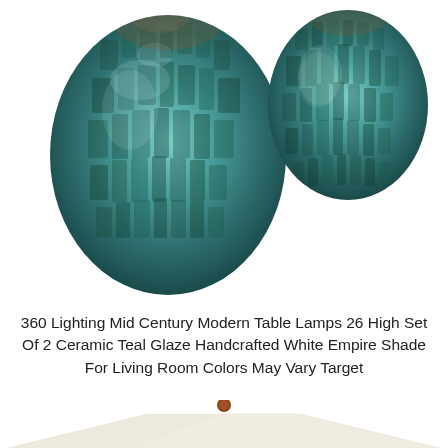[Figure (photo): Two ceramic teal glaze lamp bases side by side. Left lamp base is larger, round/oval shape with textured mosaic-like teal glaze pattern. Right lamp base is smaller, similar shape and glaze.]
360 Lighting Mid Century Modern Table Lamps 26 High Set Of 2 Ceramic Teal Glaze Handcrafted White Empire Shade For Living Room Colors May Vary Target
[Figure (photo): Bottom portion of a table lamp showing a white empire lamp shade with a small brown/copper finial on top, cropped at the bottom of the page.]